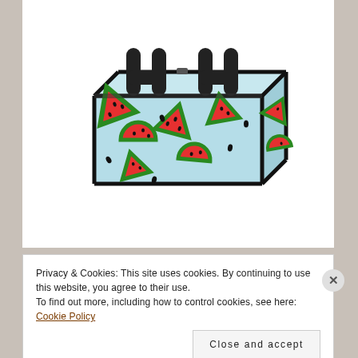[Figure (photo): A light blue insulated tote bag with a watermelon slice pattern (red watermelon pieces with green rinds and black seeds) and black handles/trim, photographed at an angle on a white background.]
Privacy & Cookies: This site uses cookies. By continuing to use this website, you agree to their use.
To find out more, including how to control cookies, see here: Cookie Policy
Close and accept